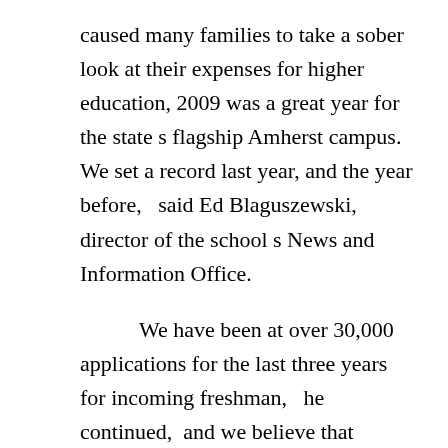caused many families to take a sober look at their expenses for higher education, 2009 was a great year for the state’s flagship Amherst campus. “We set a record last year, and the year before,” said Ed Blaguszewski, director of the school’s News and Information Office.
“We have been at over 30,000 applications for the last three years for incoming freshman,” he continued, “and we believe that continues to indicate a very strong interest in the value of a UMass education, at an affordable price.
Kathleen Wrobleski, director of Communications and Marketing at Bay Path College, called the economic downturn “a double-edged sword.” While students